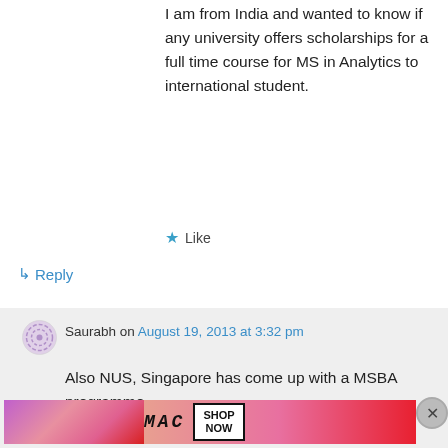I am from India and wanted to know if any university offers scholarships for a full time course for MS in Analytics to international student.
★ Like
↳ Reply
Saurabh on August 19, 2013 at 3:32 pm
Also NUS, Singapore has come up with a MSBA programme.
★ Like
Advertisements
[Figure (photo): MAC cosmetics advertisement banner showing lipsticks and MAC logo with SHOP NOW button]